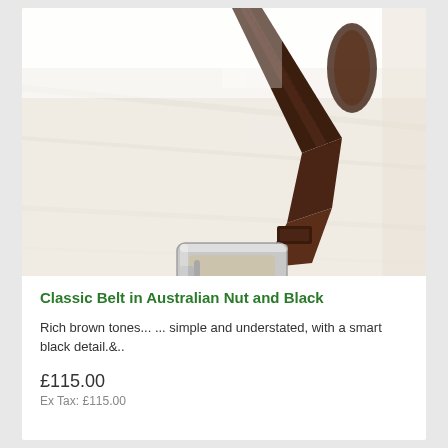[Figure (photo): A dark brown leather belt with a silver rectangular buckle, laid diagonally on a light wood surface. The belt strap extends upward and curves in the background.]
Classic Belt in Australian Nut and Black
Rich brown tones... ... simple and understated, with a smart black detail.&..
£115.00
Ex Tax: £115.00